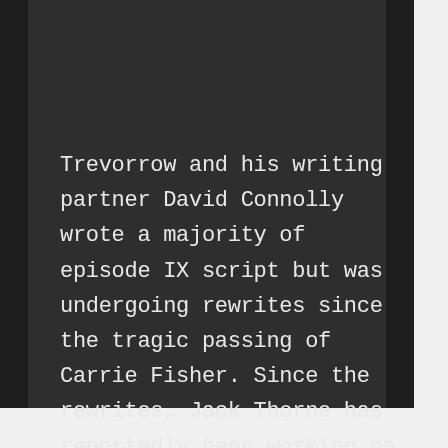Trevorrow and his writing partner David Connolly wrote a majority of episode IX script but was undergoing rewrites since the tragic passing of Carrie Fisher. Since the rewrites, Jack Thorne has reportedly been working on the script.